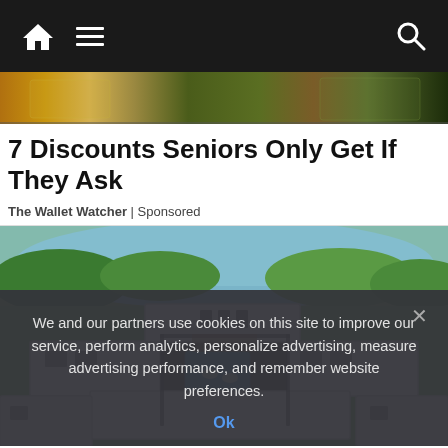Navigation bar with home icon, menu icon, and search icon
[Figure (photo): Banner strip showing cash/money background image]
7 Discounts Seniors Only Get If They Ask
The Wallet Watcher | Sponsored
[Figure (photo): Aerial view of a modern luxury home made from shipping containers, with a pool in the center courtyard, surrounded by green landscape and a river/lake in the background]
We and our partners use cookies on this site to improve our service, perform analytics, personalize advertising, measure advertising performance, and remember website preferences.
Ok